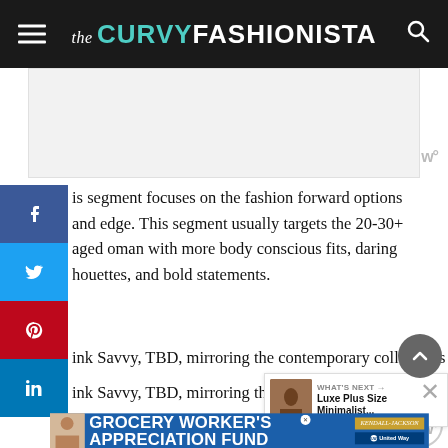the CURVY FASHIONISTA
[Figure (photo): Image placeholder area, light gray background with watermark logo]
is segment focuses on the fashion forward options and edge. This segment usually targets the 20-30+ aged oman with more body conscious fits, daring houettes, and bold statements.
ink Savvy, TBD, mirroring the contemporary collections represented in Nordstrom, Bloomingdales, and Saks, contemporary plus size fashion d... fashion forward plus size woman options tailored...er
[Figure (photo): What's Next widget: Luxe Plus Size Minimalist... with a thumbnail image]
[Figure (photo): Advertisement banner: GROCERY WORKER'S APPRECIATION FUND with Kendall Jackson and United Way logos]